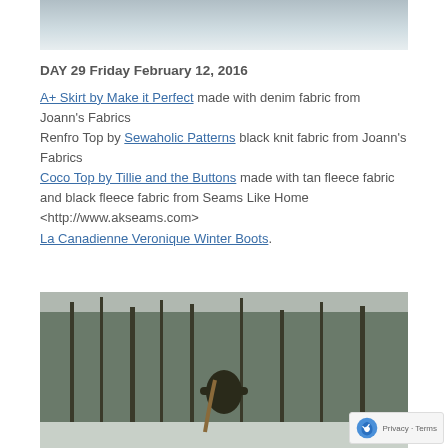[Figure (photo): Partial photo at top, showing snowy or wintry outdoor scene, cropped]
DAY 29 Friday February 12, 2016
A+ Skirt by Make it Perfect made with denim fabric from Joann's Fabrics
Renfro Top by Sewaholic Patterns black knit fabric from Joann's Fabrics
Coco Top by Tillie and the Buttons made with tan fleece fabric and black fleece fabric from Seams Like Home <http://www.akseams.com>
La Canadienne Veronique Winter Boots.
[Figure (photo): Outdoor winter photo showing bare trees and a person with long hair and outstretched arms, snowy ground]